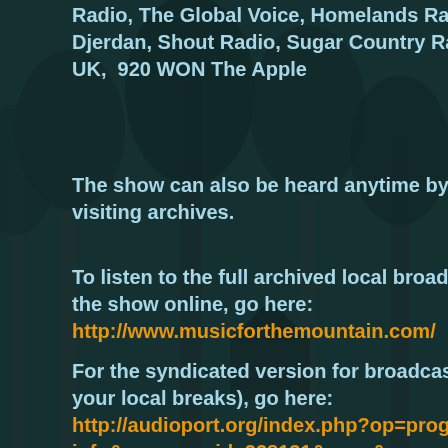Radio, The Global Voice, Homelands Radio, Djerdan, Shout Radio, Sugar Country Radio, UK,  920 WON The Apple
The show can also be heard anytime by visiting archives.
To listen to the full archived local broadcast the show online, go here: http://www.musicforthemountain.com/
For the syndicated version for broadcasters (your local breaks), go here: http://audioport.org/index.php?op=program-info&program_id=228131&nav=& (or contact me directly for downloadable link